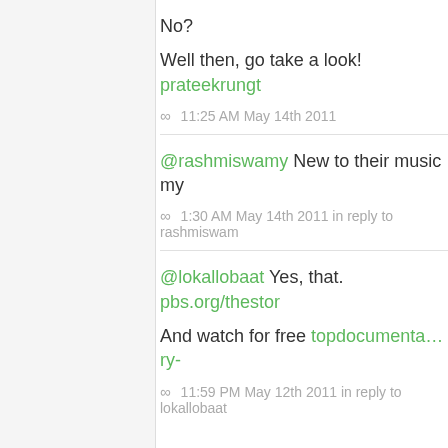No?
Well then, go take a look! prateekrungt…
∞  11:25 AM May 14th 2011
@rashmiswamy New to their music my…
∞  1:30 AM May 14th 2011 in reply to rashmiswam…
@lokallobaat Yes, that. pbs.org/thestor…
And watch for free topdocumenta…ry-…
∞  11:59 PM May 12th 2011 in reply to lokallobaat…